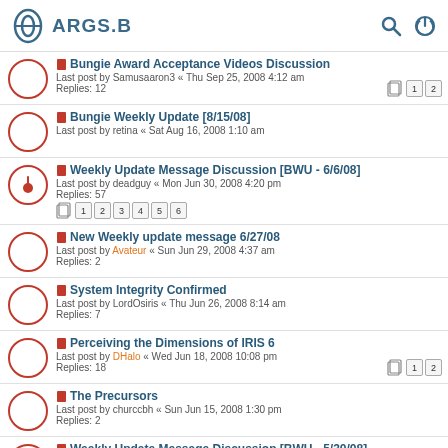ARGS.B
Bungie Award Acceptance Videos Discussion
Last post by Samusaaron3 « Thu Sep 25, 2008 4:12 am
Replies: 12
Bungie Weekly Update [8/15/08]
Last post by retina « Sat Aug 16, 2008 1:10 am
Weekly Update Message Discussion [BWU - 6/6/08]
Last post by deadguy « Mon Jun 30, 2008 4:20 pm
Replies: 57
New Weekly update message 6/27/08
Last post by Avateur « Sun Jun 29, 2008 4:37 am
Replies: 2
System Integrity Confirmed
Last post by LordOsiris « Thu Jun 26, 2008 8:14 am
Replies: 7
Perceiving the Dimensions of IRIS 6
Last post by DHalo « Wed Jun 18, 2008 10:08 pm
Replies: 18
The Precursors
Last post by churccbh « Sun Jun 15, 2008 1:30 pm
Replies: 2
Weekly Update Message Discussion [BWU - 5/30/08]